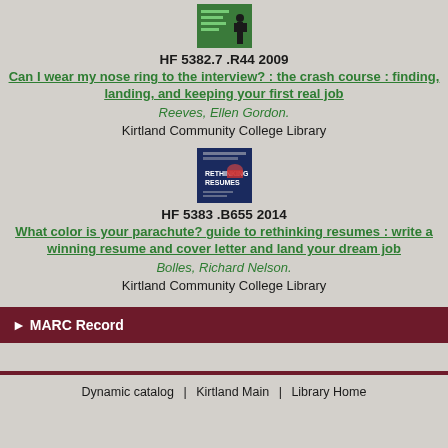[Figure (illustration): Book cover for 'Can I wear my nose ring to the interview?' showing a figure in a suit]
HF 5382.7 .R44 2009
Can I wear my nose ring to the interview? : the crash course : finding, landing, and keeping your first real job
Reeves, Ellen Gordon.
Kirtland Community College Library
[Figure (illustration): Book cover for 'What color is your parachute? guide to rethinking resumes' showing a blue cover with resume-related imagery]
HF 5383 .B655 2014
What color is your parachute? guide to rethinking resumes : write a winning resume and cover letter and land your dream job
Bolles, Richard Nelson.
Kirtland Community College Library
► MARC Record
Dynamic catalog | Kirtland Main | Library Home